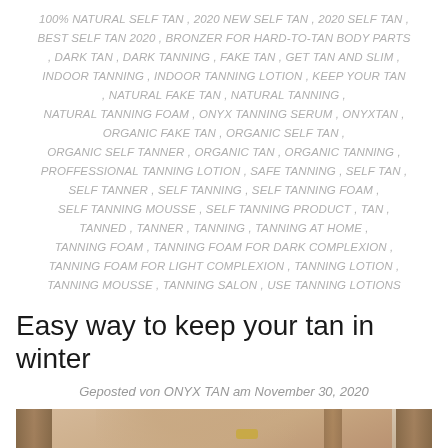100% NATURAL SELF TAN , 2020 NEW SELF TAN , 2020 SELF TAN , BEST SELF TAN 2020 , BRONZER FOR HARD-TO-TAN BODY PARTS , DARK TAN , DARK TANNING , FAKE TAN , GET TAN AND SLIM , INDOOR TANNING , INDOOR TANNING LOTION , KEEP YOUR TAN , NATURAL FAKE TAN , NATURAL TANNING , NATURAL TANNING FOAM , ONYX TANNING SERUM , ONYXTAN , ORGANIC FAKE TAN , ORGANIC SELF TAN , ORGANIC SELF TANNER , ORGANIC TAN , ORGANIC TANNING , PROFFESSIONAL TANNING LOTION , SAFE TANNING , SELF TAN , SELF TANNER , SELF TANNING , SELF TANNING FOAM , SELF TANNING MOUSSE , SELF TANNING PRODUCT , TAN , TANNED , TANNER , TANNING , TANNING AT HOME , TANNING FOAM , TANNING FOAM FOR DARK COMPLEXION , TANNING FOAM FOR LIGHT COMPLEXION , TANNING LOTION , TANNING MOUSSE , TANNING SALON , USE TANNING LOTIONS
Easy way to keep your tan in winter
Geposted von ONYX TAN am November 30, 2020
[Figure (photo): Woman with tanned skin raising arms behind her head, photographed in front of wooden shutters or blinds]